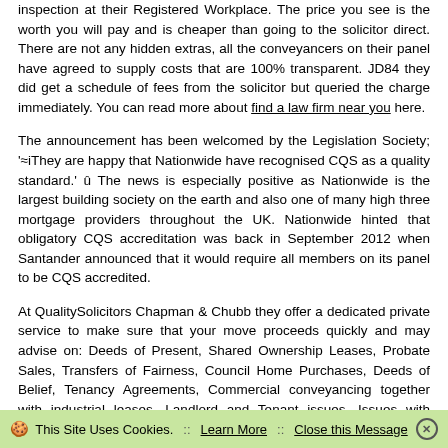inspection at their Registered Workplace. The price you see is the worth you will pay and is cheaper than going to the solicitor direct. There are not any hidden extras, all the conveyancers on their panel have agreed to supply costs that are 100% transparent. JD84 they did get a schedule of fees from the solicitor but queried the charge immediately. You can read more about find a law firm near you here.
The announcement has been welcomed by the Legislation Society; '≈iThey are happy that Nationwide have recognised CQS as a quality standard.' û The news is especially positive as Nationwide is the largest building society on the earth and also one of many high three mortgage providers throughout the UK. Nationwide hinted that obligatory CQS accreditation was back in September 2012 when Santander announced that it would require all members on its panel to be CQS accredited.
At QualitySolicitors Chapman & Chubb they offer a dedicated private service to make sure that your move proceeds quickly and may advise on: Deeds of Present, Shared Ownership Leases, Probate Sales, Transfers of Fairness, Council Home Purchases, Deeds of Belief, Tenancy Agreements, Commercial conveyancing together with industrial leases, Landlord and Tenant issues, Issues with Tenants, Problems with Landlords and Letting residential and commercial
🍪 This Site Uses Cookies.  ::  Learn More  ::  Close this Message ✕